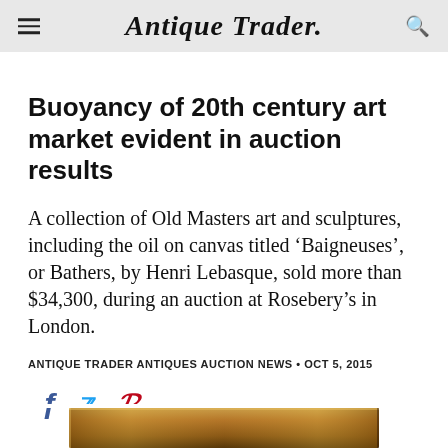Antique Trader
Buoyancy of 20th century art market evident in auction results
A collection of Old Masters art and sculptures, including the oil on canvas titled ‘Baigneuses’, or Bathers, by Henri Lebasque, sold more than $34,300, during an auction at Rosebery’s in London.
ANTIQUE TRADER ANTIQUES AUCTION NEWS • OCT 5, 2015
[Figure (other): Social sharing icons: Facebook (blue f), Twitter (blue bird), Pinterest (red P)]
[Figure (photo): Bottom portion of a gilded picture frame, gold/brown tones, partially visible at bottom of page]